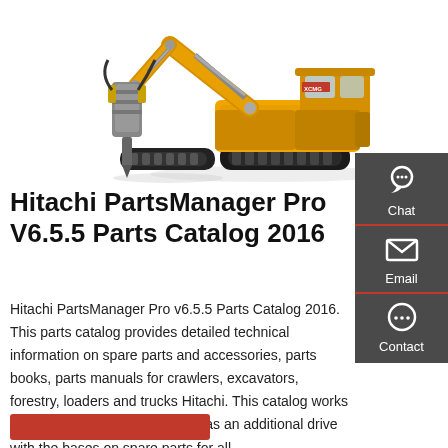[Figure (photo): Yellow excavator / crawler machine with hydraulic hammer attachment on the left arm, white background. XCMG brand logo visible on cab.]
Hitachi PartsManager Pro V6.5.5 Parts Catalog 2016
Hitachi PartsManager Pro v6.5.5 Parts Catalog 2016. This parts catalog provides detailed technical information on spare parts and accessories, parts books, parts manuals for crawlers, excavators, forestry, loaders and trucks Hitachi. This catalog works in a shell PartsManagerPro, it has an additional drive with the bases on spare parts for all